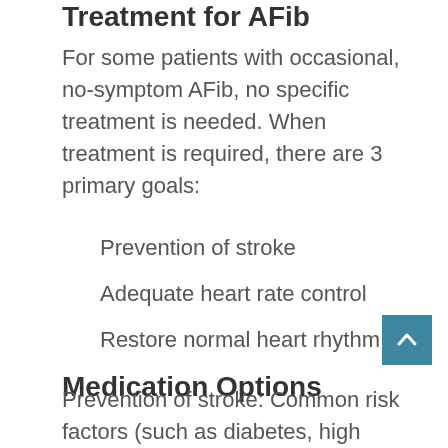Treatment for AFib
For some patients with occasional, no-symptom AFib, no specific treatment is needed. When treatment is required, there are 3 primary goals:
Prevention of stroke
Adequate heart rate control
Restore normal heart rhythm
Medication Options
Prevention of stroke: Common risk factors (such as diabetes, high